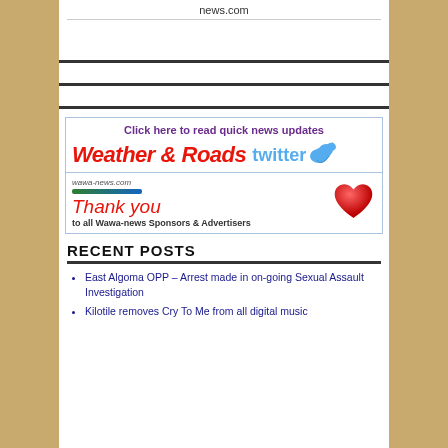news.com
[Figure (infographic): Ad banner: Click here to read quick news updates - Weather & Roads with Twitter bird logo, and Thank you to all Wawa-news Sponsors & Advertisers with heart graphic]
RECENT POSTS
East Algoma OPP – Arrest made in on-going Sexual Assault Investigation
Kilotile removes Cry To Me from all digital music